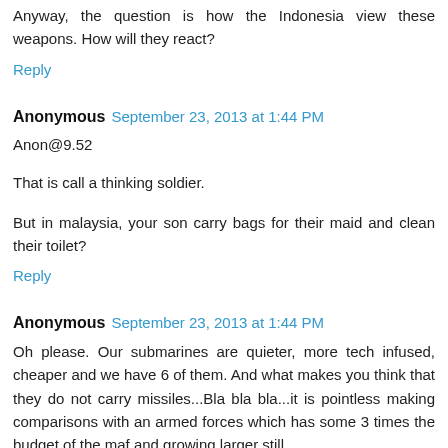Anyway, the question is how the Indonesia view these weapons. How will they react?
Reply
Anonymous  September 23, 2013 at 1:44 PM
Anon@9.52
That is call a thinking soldier.
But in malaysia, your son carry bags for their maid and clean their toilet?
Reply
Anonymous  September 23, 2013 at 1:44 PM
Oh please. Our submarines are quieter, more tech infused, cheaper and we have 6 of them. And what makes you think that they do not carry missiles...Bla bla bla...it is pointless making comparisons with an armed forces which has some 3 times the budget of the maf and growing larger still.